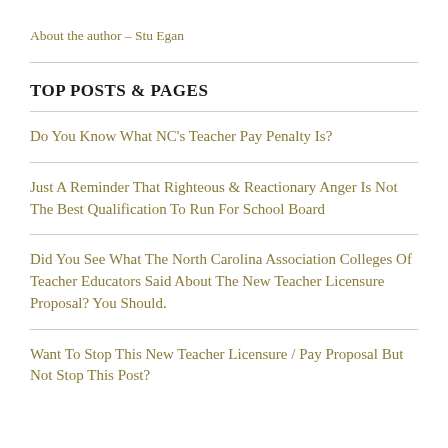About the author – Stu Egan
TOP POSTS & PAGES
Do You Know What NC's Teacher Pay Penalty Is?
Just A Reminder That Righteous & Reactionary Anger Is Not The Best Qualification To Run For School Board
Did You See What The North Carolina Association Colleges Of Teacher Educators Said About The New Teacher Licensure Proposal? You Should.
Want To Stop This New Teacher Licensure / Pay Proposal But Not Stop This Post?